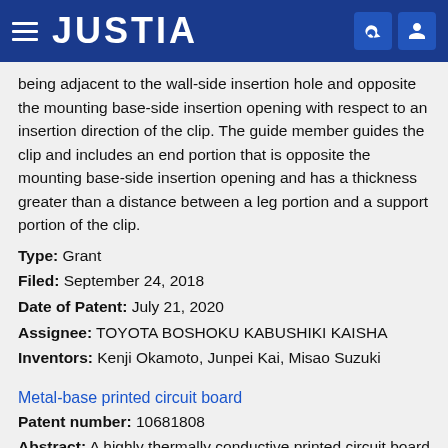JUSTIA
being adjacent to the wall-side insertion hole and opposite the mounting base-side insertion opening with respect to an insertion direction of the clip. The guide member guides the clip and includes an end portion that is opposite the mounting base-side insertion opening and has a thickness greater than a distance between a leg portion and a support portion of the clip.
Type: Grant
Filed: September 24, 2018
Date of Patent: July 21, 2020
Assignee: TOYOTA BOSHOKU KABUSHIKI KAISHA
Inventors: Kenji Okamoto, Junpei Kai, Misao Suzuki
Metal-base printed circuit board
Patent number: 10681808
Abstract: A highly thermally conductive printed circuit board prevents electrochemical migration by inhibiting